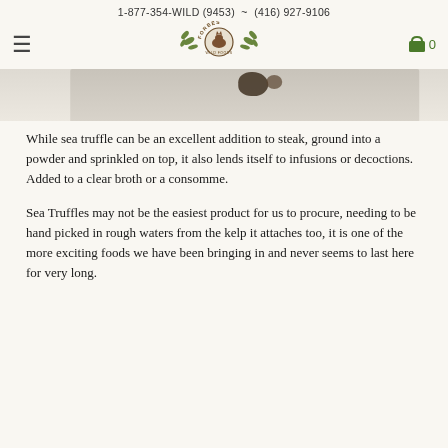1-877-354-WILD (9453)  ~  (416) 927-9106
[Figure (logo): Forbes Wild Foods logo with botanical decorative elements]
[Figure (photo): Partial product photo showing sea truffles on a white background]
While sea truffle can be an excellent addition to steak, ground into a powder and sprinkled on top, it also lends itself to infusions or decoctions. Added to a clear broth or a consomme.
Sea Truffles may not be the easiest product for us to procure, needing to be hand picked in rough waters from the kelp it attaches too, it is one of the more exciting foods we have been bringing in and never seems to last here for very long.